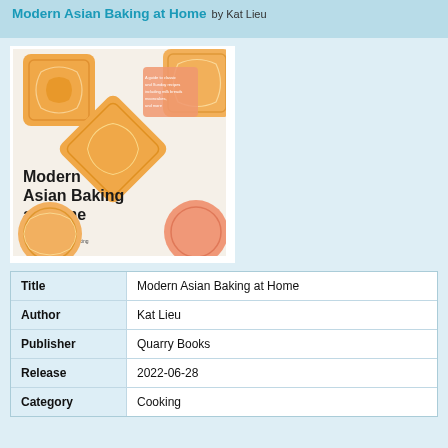Modern Asian Baking at Home by Kat Lieu
[Figure (photo): Book cover of 'Modern Asian Baking at Home' by Kat Lieu showing decorated mooncakes on a white surface with the book title in bold black text]
| Field | Value |
| --- | --- |
| Title | Modern Asian Baking at Home |
| Author | Kat Lieu |
| Publisher | Quarry Books |
| Release | 2022-06-28 |
| Category | Cooking |